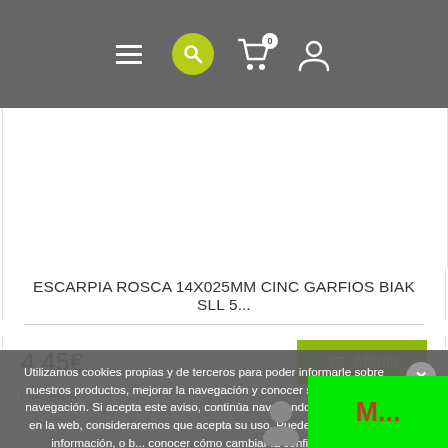Navigation bar with hamburger menu, search, cart (0 items), and user icon
[Figure (photo): Product image area (white/blank)]
ESCARPIA ROSCA 14X025MM CINC GARFIOS BIAK SLL 5...
4.45€
Añadir
Detalles
Utilizamos cookies propias y de terceros para poder informarle sobre nuestros productos, mejorar la navegación y conocer sus hábitos de navegación. Si acepta este aviso, continúa navegando o permanece en la web, consideraremos que acepta su uso. Puede obtener más información, o bien conocer cómo cambiar la configuración.
Política de Cookies.
M...